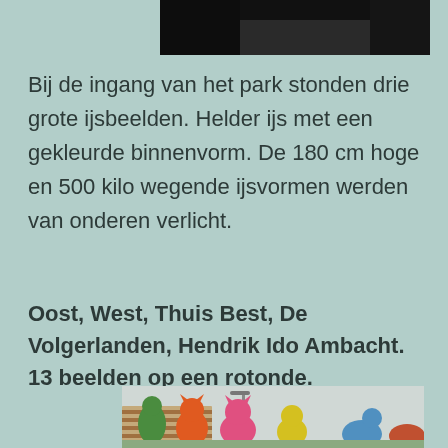[Figure (photo): Partial view of a dark image at top of page, cropped]
Bij de ingang van het park stonden drie grote ijsbeelden. Helder ijs met een gekleurde binnenvorm. De 180 cm hoge en 500 kilo wegende ijsvormen werden van onderen verlicht.
Oost, West, Thuis Best, De Volgerlanden, Hendrik Ido Ambacht. 13 beelden op een rotonde.
[Figure (photo): Colorful animal sculptures on a roundabout in Hendrik Ido Ambacht. Visible are a green figure, orange cat, pink cat, yellow figure, and other colored sculptures. Buildings and street lights visible in background.]